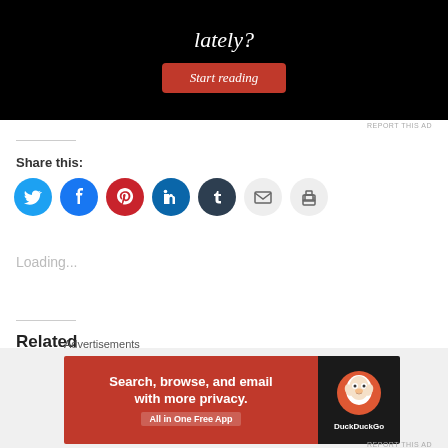[Figure (screenshot): Black background ad banner with italic white text 'lately?' and a red 'Start reading' button]
REPORT THIS AD
Share this:
[Figure (infographic): Row of social sharing icon buttons: Twitter (blue), Facebook (blue), Pinterest (red), LinkedIn (dark blue), Tumblr (dark), Email (gray), Print (gray)]
Loading...
Related
[Figure (screenshot): DuckDuckGo advertisement banner: orange left panel with 'Search, browse, and email with more privacy. All in One Free App' and dark right panel with DuckDuckGo duck logo]
REPORT THIS AD